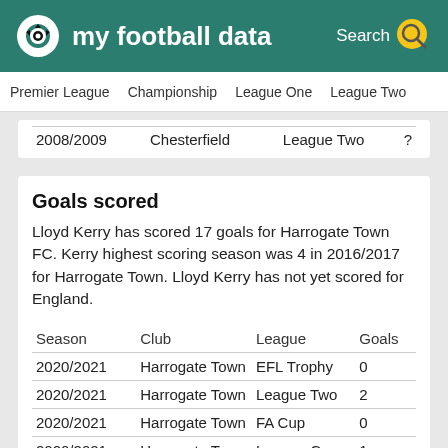my football data
Premier League   Championship   League One   League Two
| Season | Club | League | Goals/Position |
| --- | --- | --- | --- |
| 2008/2009 | Chesterfield | League Two | ? |
Goals scored
Lloyd Kerry has scored 17 goals for Harrogate Town FC. Kerry highest scoring season was 4 in 2016/2017 for Harrogate Town. Lloyd Kerry has not yet scored for England.
| Season | Club | League | Goals |
| --- | --- | --- | --- |
| 2020/2021 | Harrogate Town | EFL Trophy | 0 |
| 2020/2021 | Harrogate Town | League Two | 2 |
| 2020/2021 | Harrogate Town | FA Cup | 0 |
| 2020/2021 | Harrogate Town | League Cup | 1 |
| 2019/2020 | Harrogate Town | FA Trophy | 2 |
| 2019/2020 | Harrogate Town | FA Cup | 0 |